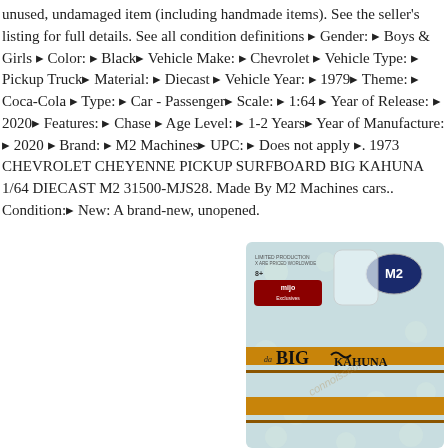unused, undamaged item (including handmade items). See the seller's listing for full details. See all condition definitions ▸ Gender: ▸ Boys & Girls ▸ Color: ▸ Black▸ Vehicle Make: ▸ Chevrolet ▸ Vehicle Type: ▸ Pickup Truck▸ Material: ▸ Diecast ▸ Vehicle Year: ▸ 1979▸ Theme: ▸ Coca-Cola ▸ Type: ▸ Car - Passenger▸ Scale: ▸ 1:64 ▸ Year of Release: ▸ 2020▸ Features: ▸ Chase ▸ Age Level: ▸ 1-2 Years▸ Year of Manufacture: ▸ 2020 ▸ Brand: ▸ M2 Machines▸ UPC: ▸ Does not apply ▸. 1973 CHEVROLET CHEYENNE PICKUP SURFBOARD BIG KAHUNA 1/64 DIECAST M2 31500-MJS28. Made By M2 Machines cars.. Condition:▸ New: A brand-new, unopened.
[Figure (photo): Product packaging photo of M2 Machines 1973 Chevrolet Cheyenne Pickup Surfboard Big Kahuna 1/64 diecast car. Shows a blister pack with MiJo Exclusives branding and 'Da Big Kahuna' logo on the card.]